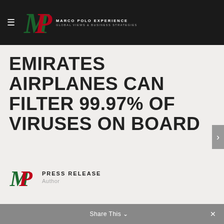Marco Polo Experience — Global Views & Business Strategies
EMIRATES AIRPLANES CAN FILTER 99.97% OF VIRUSES ON BOARD
PRESS RELEASE
Author
Share This